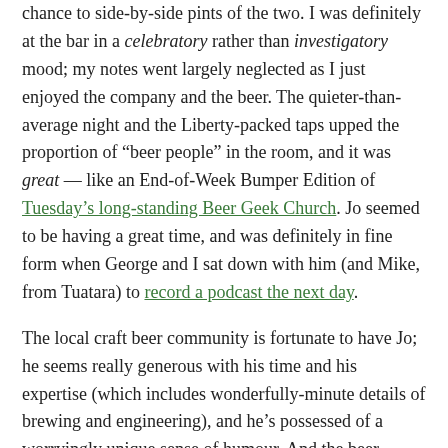chance to side-by-side pints of the two. I was definitely at the bar in a celebratory rather than investigatory mood; my notes went largely neglected as I just enjoyed the company and the beer. The quieter-than-average night and the Liberty-packed taps upped the proportion of "beer people" in the room, and it was great — like an End-of-Week Bumper Edition of Tuesday's long-standing Beer Geek Church. Jo seemed to be having a great time, and was definitely in fine form when George and I sat down with him (and Mike, from Tuatara) to record a podcast the next day.
The local craft beer community is fortunate to have Jo; he seems really generous with his time and his expertise (which includes wonderfully-minute details of brewing and engineering), and he's possessed of a worryingly unique sense of humour. And the beer-drinking public is damn lucky to have his beers on the market. I can't remember ever having one that seemed naff or wide of its target. There's a very-credible rumour — though no official confirmation, yet — that there are soon to be much great numbers of Yakima Monsters roaming the world, with a vastly more